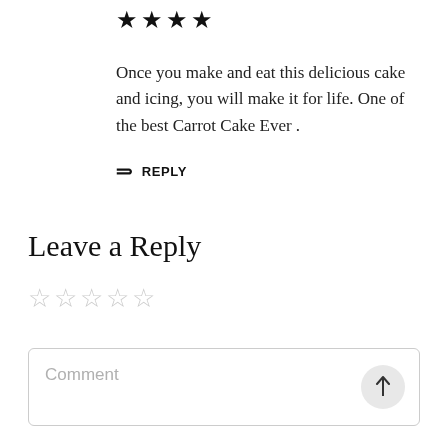[Figure (other): Four filled black stars rating]
Once you make and eat this delicious cake and icing, you will make it for life. One of the best Carrot Cake Ever .
REPLY
Leave a Reply
[Figure (other): Five empty star rating input]
Comment